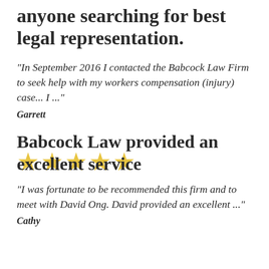anyone searching for best legal representation.
"In September 2016 I contacted the Babcock Law Firm to seek help with my workers compensation (injury) case... I ..."
Garrett
Babcock Law provided an excellent service
"I was fortunate to be recommended this firm and to meet with David Ong. David provided an excellent ..."
Cathy